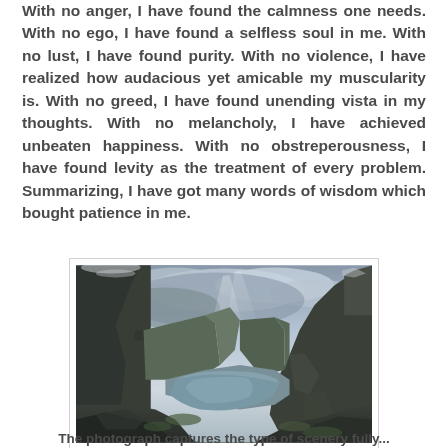With no anger, I have found the calmness one needs. With no ego, I have found a selfless soul in me. With no lust, I have found purity. With no violence, I have realized how audacious yet amicable my muscularity is. With no greed, I have found unending vista in my thoughts. With no melancholy, I have achieved unbeaten happiness. With no obstreperousness, I have found levity as the treatment of every problem. Summarizing, I have got many words of wisdom which bought patience in me.
[Figure (photo): A dramatic landscape photograph showing a fjord scene from a cliff top (likely Trolltunga, Norway). Dark rocky cliffs frame the foreground, with a deep glacial fjord winding through the valley below. Dramatic cloudy sky with rays of light breaking through above steep mountain walls.]
The photograph captures the type of scenery fully...